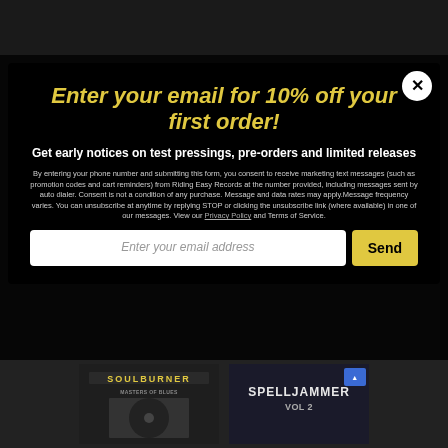recycled etc. What you were left with was the newest record from these mom approved
[Figure (screenshot): Email signup modal popup with dark background. Contains title 'Enter your email for 10% off your first order!', subtitle 'Get early notices on test pressings, pre-orders and limited releases', legal consent text about marketing messages from Riding Easy Records, Privacy Policy and Terms of Service links, an email input field, and a yellow Send button. A close X button is in the top right corner.]
[Figure (photo): Two album covers shown at the bottom of the page. Left album shows 'Soulburner' text with a figure. Right album shows 'Spelljammer vol 2' text.]